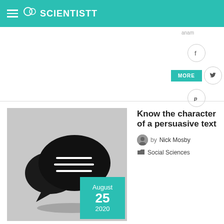SCIENTISTT
anam
[Figure (screenshot): Social media share buttons: Facebook, Twitter, Pinterest icons with a MORE button in teal]
[Figure (illustration): Article thumbnail with speech bubble icons on gray background, date badge August 25 2020 in teal]
Know the character of a persuasive text
by Nick Mosby
Social Sciences